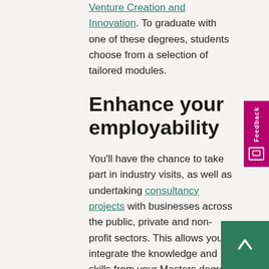Venture Creation and Innovation. To graduate with one of these degrees, students choose from a selection of tailored modules.
Enhance your employability
You'll have the chance to take part in industry visits, as well as undertaking consultancy projects with businesses across the public, private and non-profit sectors. This allows you to integrate the knowledge and skills from your Masters degree to solve a real company's business challenge. Your best-practice knowledge will put you in the perfect position to help a business looking for a solution to a